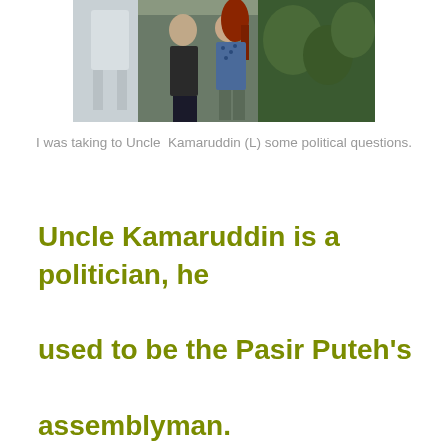[Figure (photo): Photograph of two people standing together outdoors, one in dark pants and one in a floral/patterned outfit with reddish-brown hair, a white chair visible on the left side]
I was taking to Uncle  Kamaruddin (L) some political questions.
Uncle Kamaruddin is a politician, he used to be the Pasir Puteh's assemblyman.

Over there I met Uncle Datuk Rameli